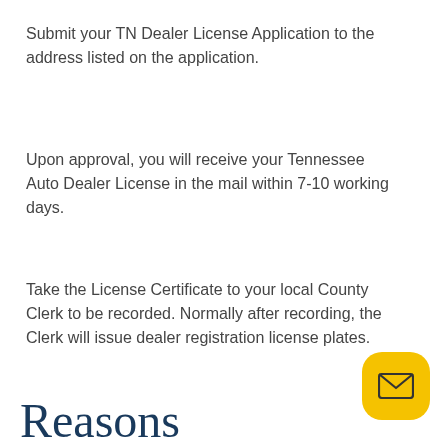Submit your TN Dealer License Application to the address listed on the application.
Upon approval, you will receive your Tennessee Auto Dealer License in the mail within 7-10 working days.
Take the License Certificate to your local County Clerk to be recorded. Normally after recording, the Clerk will issue dealer registration license plates.
Reasons